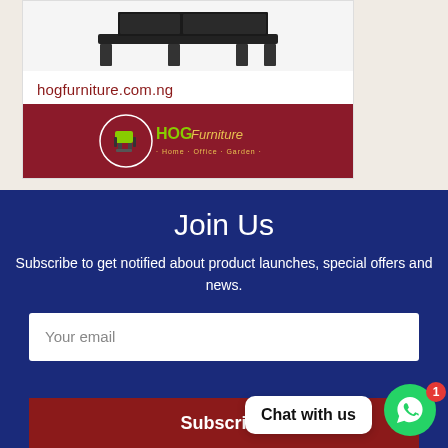[Figure (photo): Product card showing a dark furniture item (desk/table) with a white background, displayed on a beige page background]
hogfurniture.com.ng
[Figure (logo): HOG Furniture logo on dark red background — circular emblem with office chair icon, text: HOG Furniture, Home · Office · Garden]
Join Us
Subscribe to get notified about product launches, special offers and news.
Your email
Subscribe
Chat with us